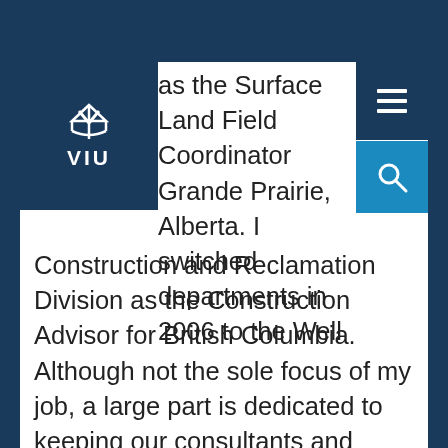[Figure (logo): VIU (Vancouver Island University) logo with white anchor/wave icon and VIU text on dark navy background]
as the Surface Land Field Coordinator Grande Prairie, Alberta. I switched departments in 2006 to the Well Construction and Reclamation Division as the Construction Advisor for British Columbia.   Although not the sole focus of my job, a large part is dedicated to keeping our consultants and contractors compliant in the field in regards to legislation, permit conditions, and best management practices. I get involved in the planning stages for new projects in order to review for fisheries and wildlife timing issues, timber salvage and utilization, and general landscape related concerns. I also sit on a few (and